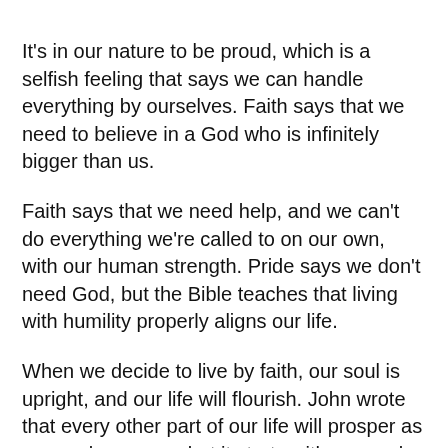It's in our nature to be proud, which is a selfish feeling that says we can handle everything by ourselves. Faith says that we need to believe in a God who is infinitely bigger than us.
Faith says that we need help, and we can't do everything we're called to on our own, with our human strength. Pride says we don't need God, but the Bible teaches that living with humility properly aligns our life.
When we decide to live by faith, our soul is upright, and our life will flourish. John wrote that every other part of our life will prosper as our soul prospers, but it starts with our soul being right within us.